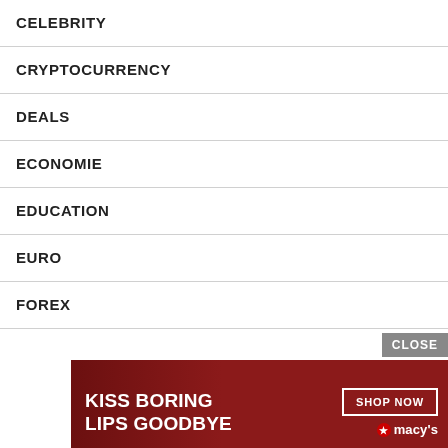CELEBRITY
CRYPTOCURRENCY
DEALS
ECONOMIE
EDUCATION
EURO
FOREX
GAMING
HEALTH
LIFE STYLE
NBA
NEWS
[Figure (photo): Advertisement banner: woman with red lipstick, text 'KISS BORING LIPS GOODBYE', 'SHOP NOW', 'macys' with star logo on dark red background. Close button top right.]